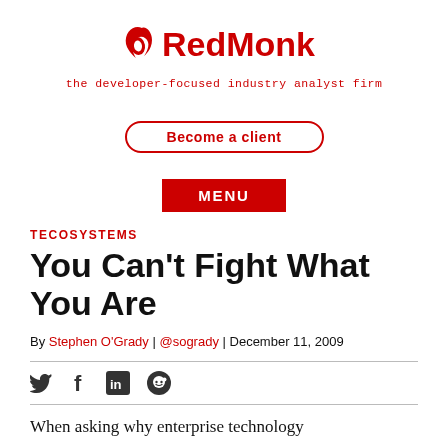RedMonk – the developer-focused industry analyst firm
[Figure (logo): RedMonk logo with red bird/flame icon and 'RedMonk' in bold red text, tagline: 'the developer-focused industry analyst firm']
Become a client
MENU
TECOSYSTEMS
You Can't Fight What You Are
By Stephen O'Grady | @sogrady | December 11, 2009
[Figure (infographic): Social share icons: Twitter, Facebook, LinkedIn, Reddit]
When asking why enterprise technology